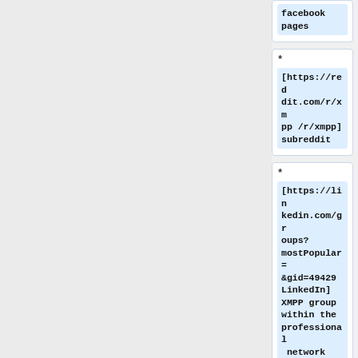* [facebook pages]
* [https://reddit.com/r/xmpp /r/xmpp] subreddit
* [https://linkedin.com/groups?mostPopular=&gid=49429 LinkedIn] XMPP group within the professional network
*